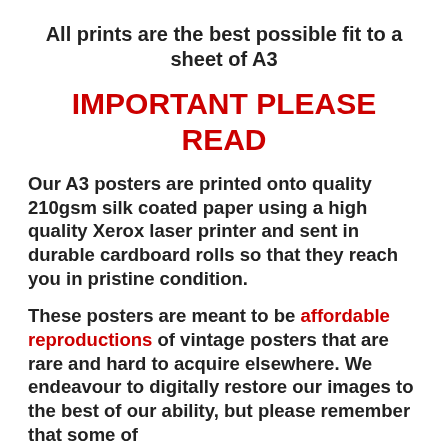All prints are the best possible fit to a sheet of A3
IMPORTANT PLEASE READ
Our A3 posters are printed onto quality 210gsm silk coated paper using a high quality Xerox laser printer and sent in durable cardboard rolls so that they reach you in pristine condition.
These posters are meant to be affordable reproductions of vintage posters that are rare and hard to acquire elsewhere. We endeavour to digitally restore our images to the best of our ability, but please remember that some of